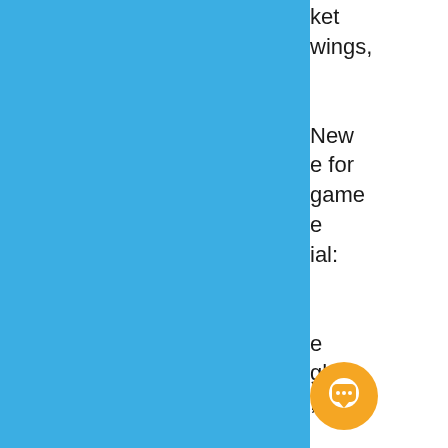[Figure (illustration): Large blue rectangle occupying the left ~69% of the page, likely a sidebar or decorative panel element from a web or app interface screenshot.]
ket
wings,

New
e for
game
e
ial:

e
gh to
,

game


d
[Figure (illustration): Orange circular chat/message button icon in the bottom right area, overlapping the blue and white panels. Contains a white speech bubble icon.]